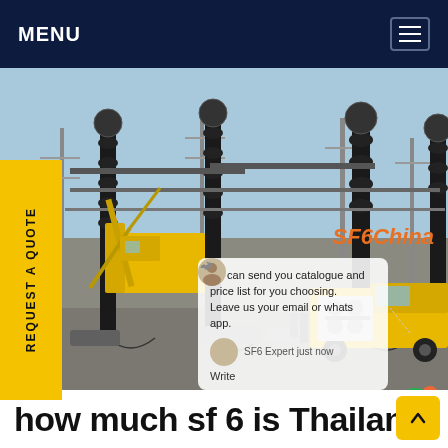MENU
[Figure (photo): Electrical substation with tall dark columns/insulators, yellow crane equipment, and service vehicles. SF6China watermark in orange at bottom right. Chat popup overlay visible with text 'we can send you catalogue and price list for you choosing. Leave us your email or whatsapp.' with SF6 Expert chat interface, and a green chat icon with notification badge showing 1.]
REQUEST A QUOTE
how much sf 6 is Thailand...